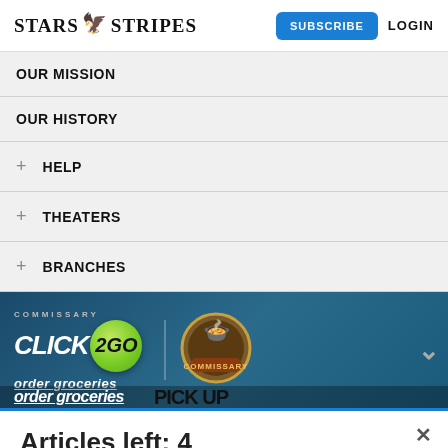Stars and Stripes — SUBSCRIBE  LOGIN
OUR MISSION
OUR HISTORY
+ HELP
+ THEATERS
+ BRANCHES
[Figure (infographic): Commissary Click2Go advertisement banner showing 'COMMISSARY CLICK 2GO' logo with green circular badge, 'order groceries' text, and Commissary circular logo on the right, with a chevron arrow on the far right]
Articles left: 4
Subscribe to get unlimited access Subscribe
Already have an account? Login here